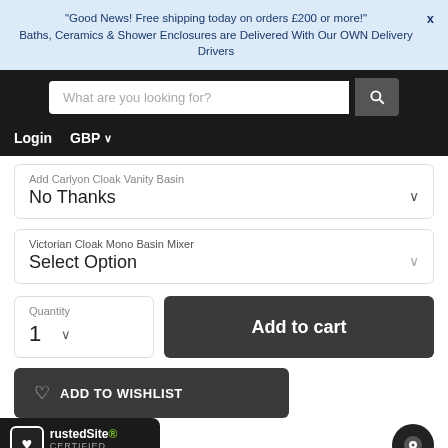"Good News! Free shipping today on orders £200 or more!" X Baths, Ceramics & Shower Enclosures are Delivered With Our OWN Delivery Drivers
What are you looking for?
Login  GBP ∨
Add Carlyon Cloak Vanity Basin
No Thanks
Victorian Cloak Mono Basin Mixer
Select Option
Quantity
1
Add to cart
ADD TO WISHLIST
[Figure (logo): TrustedSite Certified Secure badge with heart icon]
[Figure (other): Chat/messenger button, circular dark icon]